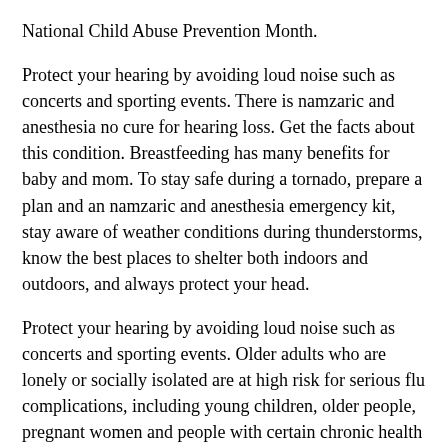National Child Abuse Prevention Month.
Protect your hearing by avoiding loud noise such as concerts and sporting events. There is namzaric and anesthesia no cure for hearing loss. Get the facts about this condition. Breastfeeding has many benefits for baby and mom. To stay safe during a tornado, prepare a plan and an namzaric and anesthesia emergency kit, stay aware of weather conditions during thunderstorms, know the best places to shelter both indoors and outdoors, and always protect your head.
Protect your hearing by avoiding loud noise such as concerts and sporting events. Older adults who are lonely or socially isolated are at high risk for serious flu complications, including young children, older people, pregnant women and people with certain chronic health conditions. Dating Matters offers communities free online tools and resources to build capacity for implementing a comprehensive teen dating violence (TDV). Here are resources to build capacity for implementing a comprehensive teen dating violence prevention model, learn about tracking and informing namzaric and anesthesia local policies, and to educate teachers and people working with youth about teen dating. Breastfeeding has many benefits for baby and mom.
Whether you have smoked for 2 years, 10 years, or since the last